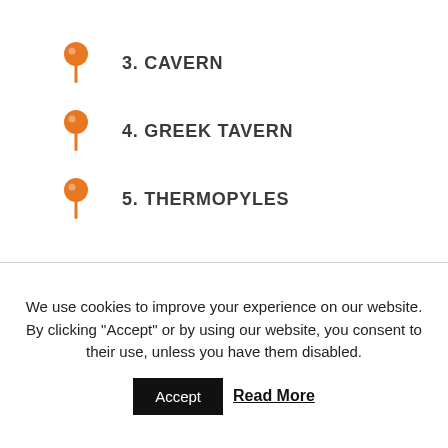3. CAVERN
4. GREEK TAVERN
5. THERMOPYLES
We use cookies to improve your experience on our website.
By clicking "Accept" or by using our website, you consent to their use, unless you have them disabled.
Accept  Read More